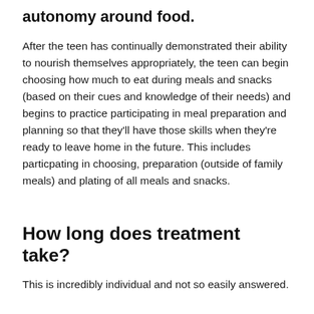autonomy around food.
After the teen has continually demonstrated their ability to nourish themselves appropriately, the teen can begin choosing how much to eat during meals and snacks (based on their cues and knowledge of their needs) and begins to practice participating in meal preparation and planning so that they'll have those skills when they're ready to leave home in the future. This includes particpating in choosing, preparation (outside of family meals) and plating of all meals and snacks.
How long does treatment take?
This is incredibly individual and not so easily answered.